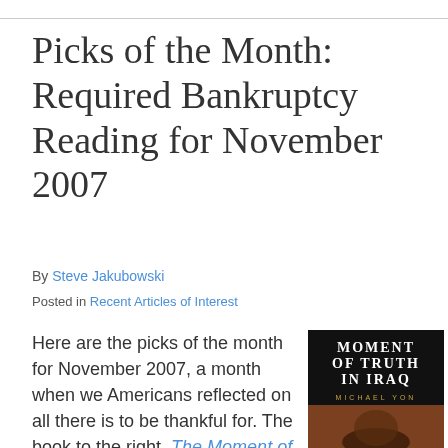Picks of the Month: Required Bankruptcy Reading for November 2007
By Steve Jakubowski
Posted in Recent Articles of Interest
Here are the picks of the month for November 2007, a month when we Americans reflected on all there is to be thankful for.  The book to the right, The Moment of Truth in Iraq: How a New "Greatest
[Figure (photo): Book cover of 'Moment of Truth in Iraq' by Michael Yon, showing dark background with white serif text and an image of a person at the bottom]